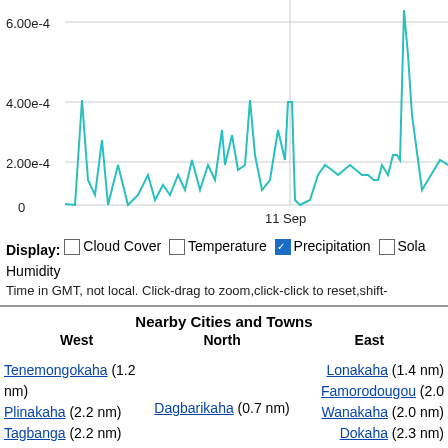[Figure (continuous-plot): Time series line chart showing precipitation data. Y-axis ranges from 0 to above 6.00e-4 with gridlines at 2.00e-4, 4.00e-4, 6.00e-4. X-axis shows date label '11 Sep'. Teal/dark cyan line with multiple spikes, largest spike near left side reaching above 6.00e-4, another large spike around the 11 Sep date label area, and more spikes toward the right.]
Display: □ Cloud Cover □ Temperature ☑ Precipitation □ Sola Humidity
Time in GMT, not local. Click-drag to zoom,click-click to reset,shift-
| West | North | East |
| --- | --- | --- |
| Tenemongokaha (1.2 nm) |  | Lonakaha (1.4 nm) |
| Plinakaha (2.2 nm) | Dagbarikaha (0.7 nm) | Famorodougou (2.0 |
| Tagbanga (2.2 nm) |  | Wanakaha (2.0 nm) |
| Tyeyakaha (2.3 nm) |  | Dokaha (2.3 nm) |
|  |  | Nayonongokaha (2. |